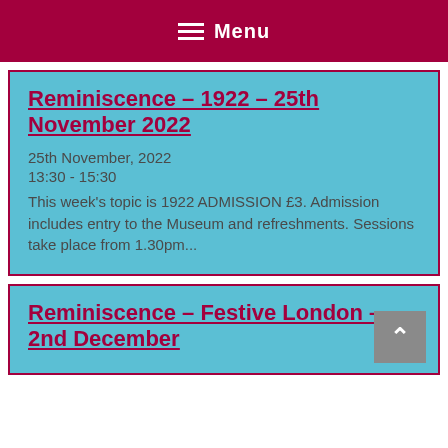Menu
Reminiscence – 1922 – 25th November 2022
25th November, 2022
13:30 - 15:30
This week's topic is 1922 ADMISSION £3. Admission includes entry to the Museum and refreshments.  Sessions take place from 1.30pm...
Reminiscence – Festive London – 2nd December 2022